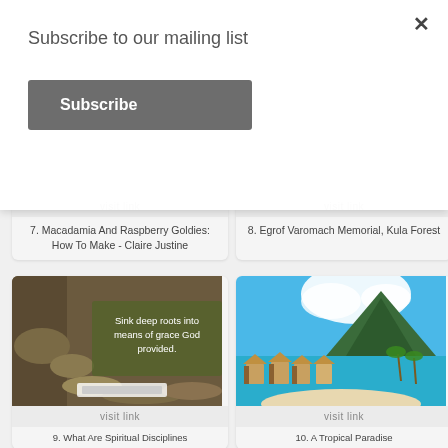Subscribe to our mailing list
Subscribe
visit link
7. Macadamia And Raspberry Goldies: How To Make - Claire Justine
visit link
8. Egrof Varomach Memorial, Kula Forest
[Figure (photo): Tree roots with text overlay: Sink deep roots into means of grace God provided.]
visit link
9. What Are Spiritual Disciplines
[Figure (photo): Tropical paradise photo with overwater bungalows, turquoise water, and mountain.]
visit link
10. A Tropical Paradise